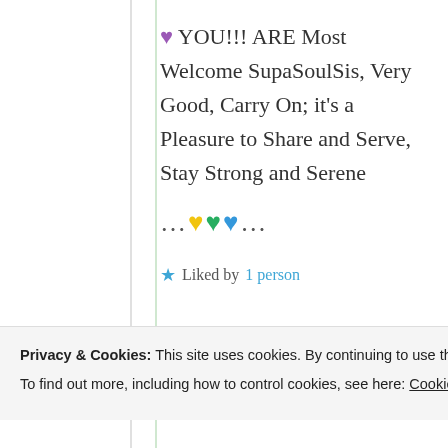💜 YOU!!! ARE Most Welcome SupaSoulSis, Very Good, Carry On; it's a Pleasure to Share and Serve, Stay Strong and Serene
... 💛💚💙 ...
★ Liked by 1 person
Privacy & Cookies: This site uses cookies. By continuing to use this website, you agree to their use. To find out more, including how to control cookies, see here: Cookie Policy
Close and accept